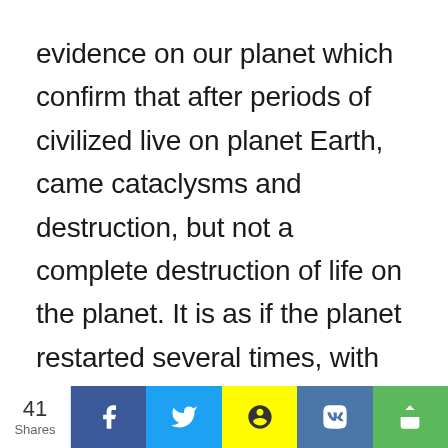evidence on our planet which confirm that after periods of civilized live on planet Earth, came cataclysms and destruction, but not a complete destruction of life on the planet. It is as if the planet restarted several times, with different beings, animals and life in general.

There is physical and Biblical evidence
41 Shares | Facebook | Twitter | Snapchat | VK | Share